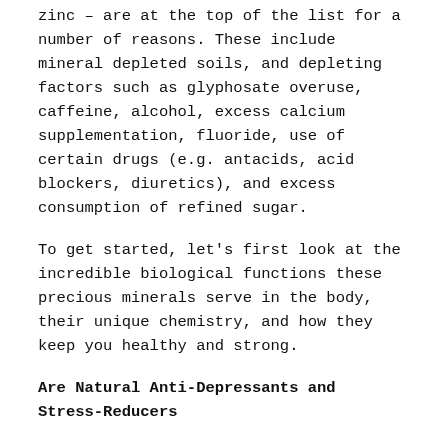zinc – are at the top of the list for a number of reasons. These include mineral depleted soils, and depleting factors such as glyphosate overuse, caffeine, alcohol, excess calcium supplementation, fluoride, use of certain drugs (e.g. antacids, acid blockers, diuretics), and excess consumption of refined sugar.
To get started, let's first look at the incredible biological functions these precious minerals serve in the body, their unique chemistry, and how they keep you healthy and strong.
Are Natural Anti-Depressants and Stress-Reducers